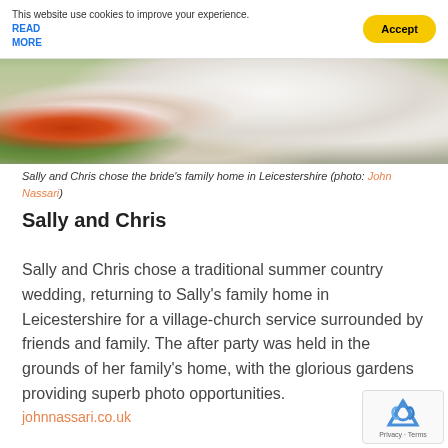This website use cookies to improve your experience. READ MORE
[Figure (photo): Wedding photo showing the lower portion of a bride's white dress and a colorful bridal bouquet with red and white flowers on green grass]
Sally and Chris chose the bride's family home in Leicestershire (photo: John Nassari)
Sally and Chris
Sally and Chris chose a traditional summer country wedding, returning to Sally's family home in Leicestershire for a village-church service surrounded by friends and family. The after party was held in the grounds of her family's home, with the glorious gardens providing superb photo opportunities.
johnnassari.co.uk